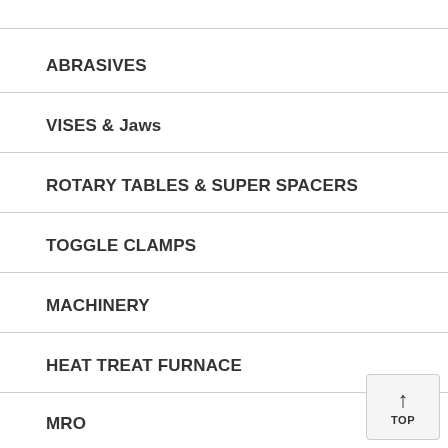ABRASIVES
VISES & Jaws
ROTARY TABLES & SUPER SPACERS
TOGGLE CLAMPS
MACHINERY
HEAT TREAT FURNACE
MRO